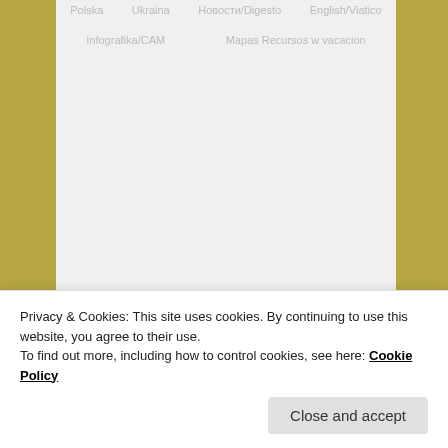[Figure (screenshot): Faded navigation/header area of a website showing menu items: Polska, Ukraina, Новости/Digesto, English/Viatico, Infografika/CAM, Mapas Recursos w vacacion]
TAG ARCHIVES: EUROPE
Ukrainians in Spain
Posted on June 17, 2014 by Mari
Privacy & Cookies: This site uses cookies. By continuing to use this website, you agree to their use.
To find out more, including how to control cookies, see here: Cookie Policy